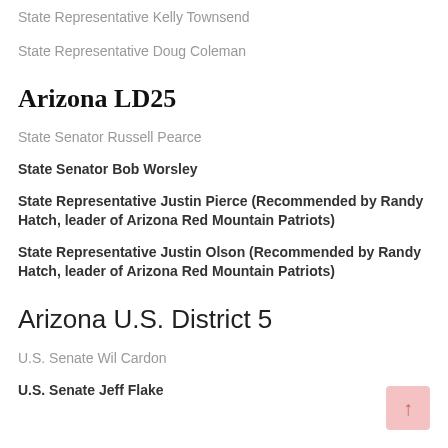State Representative Kelly Townsend
State Representative Doug Coleman
Arizona LD25
State Senator Russell Pearce
State Senator Bob Worsley
State Representative Justin Pierce (Recommended by Randy Hatch, leader of Arizona Red Mountain Patriots)
State Representative Justin Olson (Recommended by Randy Hatch, leader of Arizona Red Mountain Patriots)
Arizona U.S. District 5
U.S. Senate Wil Cardon
U.S. Senate Jeff Flake